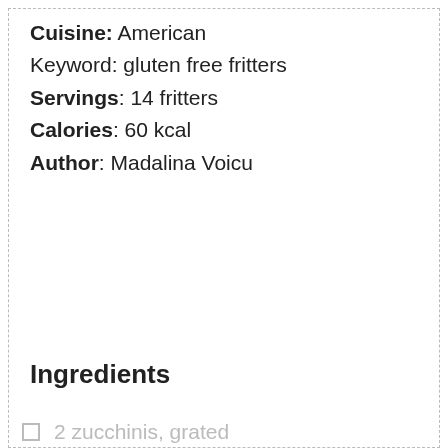Cuisine: American
Keyword: gluten free fritters
Servings: 14 fritters
Calories: 60 kcal
Author: Madalina Voicu
Ingredients
2 zucchinis, grated